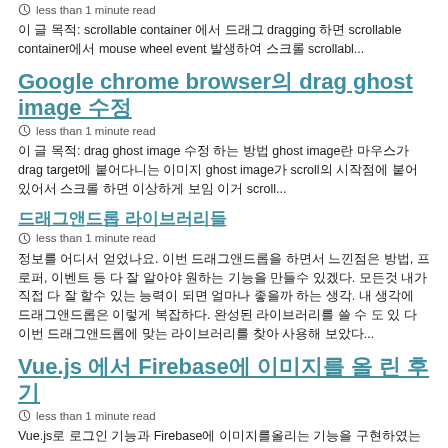less than 1 minute read
이 글 목적: scrollable container 에서 드래그 dragging 하면 scrollable container에서 mouse wheel event 발생하여 스크롤 scrollabl...
Google chrome browser의 drag ghost image 수정
less than 1 minute read
이 글 목적: drag ghost image 수정 하는 방법 ghost image란 마우스가 drag target에 붙어다니는 이미지 ghost image가 scroll의 시작점에 붙어있어서 스크롤 하면 이상하게 보임 이거 scroll...
드래그앤드롭 라이브러리들
less than 1 minute read
정보를 어디서 얻었나요. 이번 드래그앤드롭을 하면서 느낀점은 방법, 프로퍼, 이벤트 등 다 잘 알아야 원하는 기능을 만들수 있겠다. 모든것 내가 직접 다 잘 할수 있는 능력이 되면 얼마나 좋을까 하는 생각. 내 생각에 드래그앤드롭은 이렇게 복잡하다. 완성된 라이브러리를 쓸 수 도 있 다 이번 드래그앤드롭에 맞는 라이브러리를 찾아 사용해 보았다...
Vue.js 에서 Firebase에 이미지를 올 린 후기
less than 1 minute read
Vue.js로 로그인 기능과 Firebase에 이미지를올리는 기능을 구현하였는데 과정을 공유 합니다. 특히 Firebase에 이미지를 올 리고 나서 URL을 받아오는거, 이거잘 됩 니다 안 됩 니다!
(프론트 개발자)자바스크립트 라이브러리를 배운다면
less than 1 minute read